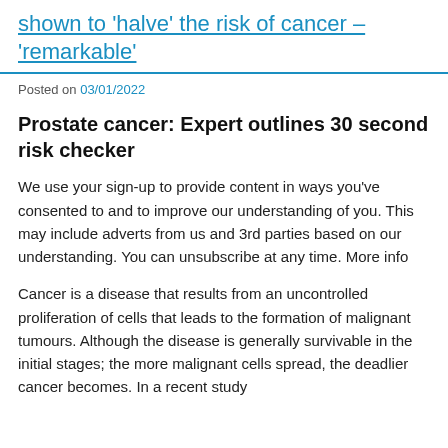shown to 'halve' the risk of cancer – 'remarkable'
Posted on 03/01/2022
Prostate cancer: Expert outlines 30 second risk checker
We use your sign-up to provide content in ways you've consented to and to improve our understanding of you. This may include adverts from us and 3rd parties based on our understanding. You can unsubscribe at any time. More info
Cancer is a disease that results from an uncontrolled proliferation of cells that leads to the formation of malignant tumours. Although the disease is generally survivable in the initial stages; the more malignant cells spread, the deadlier cancer becomes. In a recent study